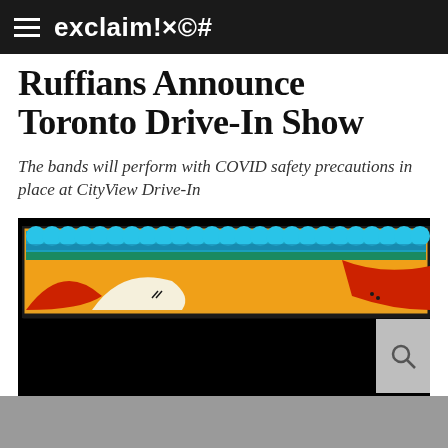exclaim!×©#
Ruffians Announce Toronto Drive-In Show
The bands will perform with COVID safety precautions in place at CityView Drive-In
[Figure (illustration): Colorful illustrated banner showing a row of tightly packed blue/teal scalloped shapes along the top (resembling a decorative awning or crowd), with orange, red, cream, and yellow shapes beneath on a dark background.]